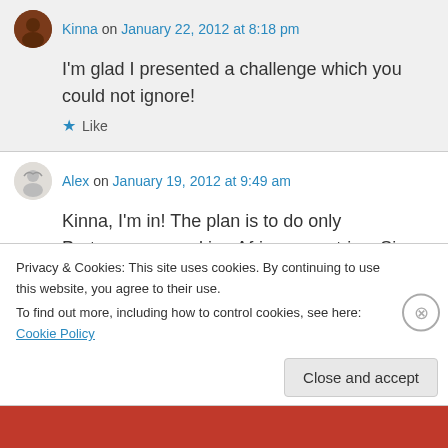Kinna on January 22, 2012 at 8:18 pm
I'm glad I presented a challenge which you could not ignore!
Like
Alex on January 19, 2012 at 9:49 am
Kinna, I'm in! The plan is to do only Portuguese-speaking African countries. Since the challenge is 5 books and there are 5 such countries, it
Privacy & Cookies: This site uses cookies. By continuing to use this website, you agree to their use.
To find out more, including how to control cookies, see here: Cookie Policy
Close and accept